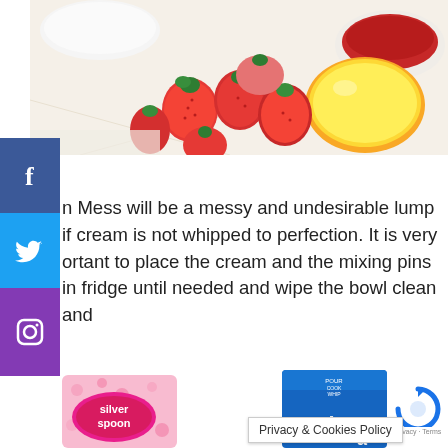[Figure (photo): Photo of fresh strawberries, a lemon, and a bowl of strawberry sauce/puree on a white lace cloth]
[Figure (other): Facebook social share button (blue background, white f icon)]
[Figure (other): Twitter social share button (light blue background, white bird icon)]
[Figure (other): Instagram social share button (purple background, white camera icon)]
n Mess will be a messy and undesirable lump if cream is not whipped to perfection. It is very ortant to place the cream and the mixing pins in fridge until needed and wipe the bowl clean and
[Figure (photo): Silver Spoon brand sugar product packaging (pink background with royal crest)]
[Figure (photo): Elmlea cream product packaging (blue container)]
Privacy & Cookies Policy
[Figure (other): reCAPTCHA logo with Privacy · Terms text]